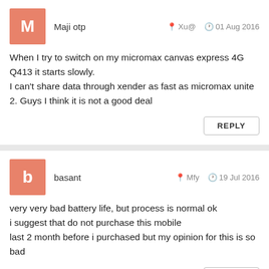Maji otp  Xu@  01 Aug 2016
When I try to switch on my micromax canvas express 4G Q413 it starts slowly.
I can't share data through xender as fast as micromax unite 2. Guys I think it is not a good deal
REPLY
basant  Mfy  19 Jul 2016
very very bad battery life, but process is normal ok
i suggest that do not purchase this mobile
last 2 month before i purchased but my opinion for this is so bad
REPLY